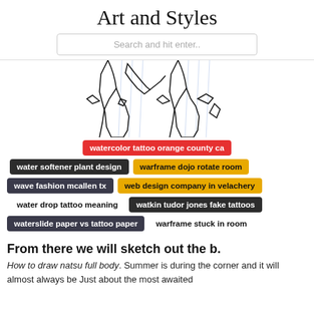Art and Styles
Search and hit enter..
[Figure (illustration): Line drawing illustration of two figures in robes/kimonos, partially cropped, with blue guide lines visible. Black and white sketch style.]
watercolor tattoo orange county ca
water softener plant design
warframe dojo rotate room
wave fashion mcallen tx
web design company in velachery
water drop tattoo meaning
watkin tudor jones fake tattoos
waterslide paper vs tattoo paper
warframe stuck in room
From there we will sketch out the b.
How to draw natsu full body. Summer is during the corner and it will almost always be Just about the most awaited